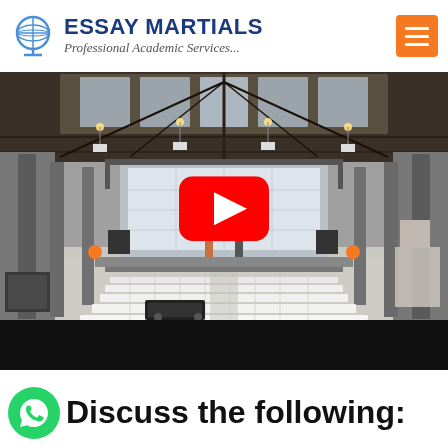ESSAY MARTIALS — Professional Academic Services...
[Figure (screenshot): YouTube video thumbnail showing an indoor conference/event hall with white chairs arranged in rows, a large projection screen at the far end, industrial ceiling with skylights, and a red YouTube play button overlay in the center. Below the hall image is a black bar.]
Discuss the following: